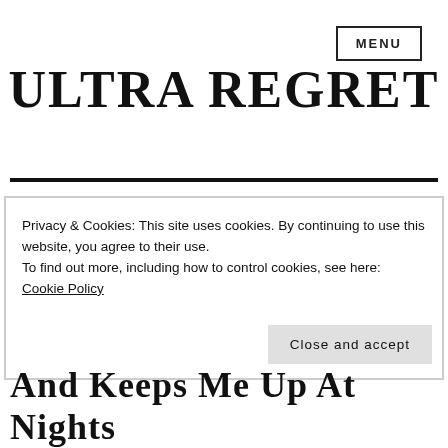MENU
ULTRA REGRET
Privacy & Cookies: This site uses cookies. By continuing to use this website, you agree to their use.
To find out more, including how to control cookies, see here: Cookie Policy
Close and accept
And Keeps Me Up At Nights